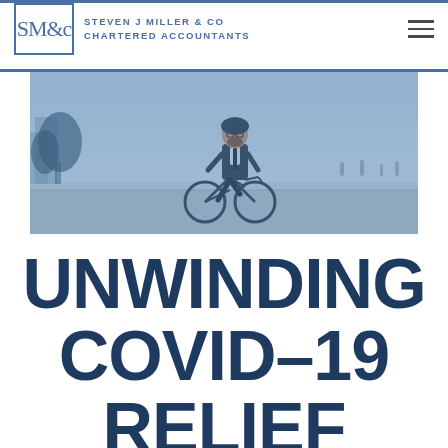SM&C Steven J Miller & Co Chartered Accountants
[Figure (photo): A man in a suit and bicycle helmet riding a bicycle in an urban setting, image tinted in blue/steel tones]
UNWINDING COVID-19 RELIEF